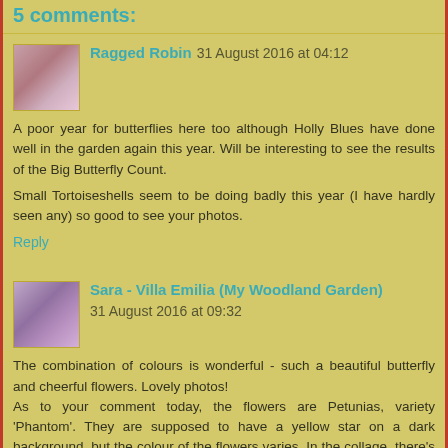5 comments:
Ragged Robin 31 August 2016 at 04:12

A poor year for butterflies here too although Holly Blues have done well in the garden again this year. Will be interesting to see the results of the Big Butterfly Count.

Small Tortoiseshells seem to be doing badly this year (I have hardly seen any) so good to see your photos.

Reply
Sara - Villa Emilia (My Woodland Garden) 31 August 2016 at 09:32

The combination of colours is wonderful - such a beautiful butterfly and cheerful flowers. Lovely photos!
As to your comment today, the flowers are Petunias, variety 'Phantom'. They are supposed to have a yellow star on a dark background, but the colour of the flowers varies. In the collage, there's one almost completely dark and in the first butterfly photo, there are some almost yellow. (It's the same